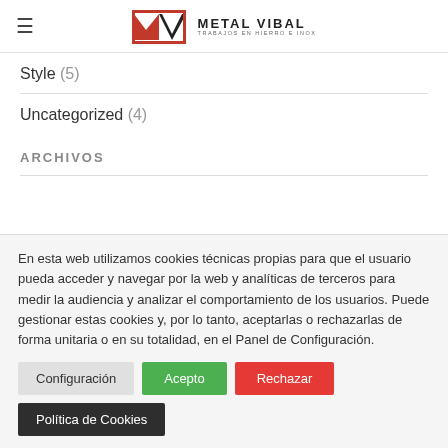Metal Vibal — Trabajos en hierro e inox
Style (5)
Uncategorized (4)
ARCHIVOS
En esta web utilizamos cookies técnicas propias para que el usuario pueda acceder y navegar por la web y analíticas de terceros para medir la audiencia y analizar el comportamiento de los usuarios. Puede gestionar estas cookies y, por lo tanto, aceptarlas o rechazarlas de forma unitaria o en su totalidad, en el Panel de Configuración.
Configuración | Acepto | Rechazar | Política de Cookies